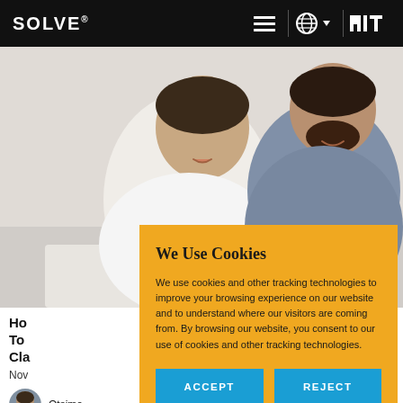SOLVE® [navigation icons] MIT
[Figure (photo): Two young men looking at a tablet or device on a table, one in a white shirt and one in a blue shirt, smiling]
Ho... To... Cla...
Nov...
Otsimo
We Use Cookies
We use cookies and other tracking technologies to improve your browsing experience on our website and to understand where our visitors are coming from. By browsing our website, you consent to our use of cookies and other tracking technologies.
ACCEPT  REJECT